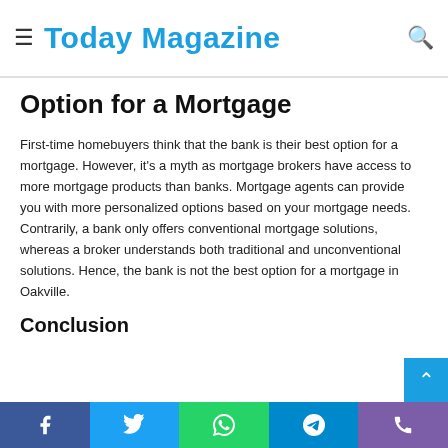Today Magazine
Option for a Mortgage
First-time homebuyers think that the bank is their best option for a mortgage. However, it's a myth as mortgage brokers have access to more mortgage products than banks. Mortgage agents can provide you with more personalized options based on your mortgage needs. Contrarily, a bank only offers conventional mortgage solutions, whereas a broker understands both traditional and unconventional solutions. Hence, the bank is not the best option for a mortgage in Oakville.
Conclusion